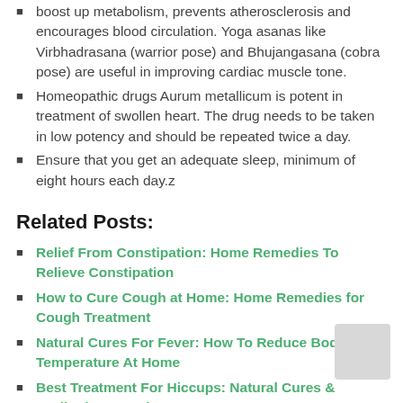boost up metabolism, prevents atherosclerosis and encourages blood circulation. Yoga asanas like Virbhadrasana (warrior pose) and Bhujangasana (cobra pose) are useful in improving cardiac muscle tone.
Homeopathic drugs Aurum metallicum is potent in treatment of swollen heart. The drug needs to be taken in low potency and should be repeated twice a day.
Ensure that you get an adequate sleep, minimum of eight hours each day.z
Related Posts:
Relief From Constipation: Home Remedies To Relieve Constipation
How to Cure Cough at Home: Home Remedies for Cough Treatment
Natural Cures For Fever: How To Reduce Body Temperature At Home
Best Treatment For Hiccups: Natural Cures & Meditation For Hiccups
How To Treat Vomiting Naturally: Best Remedy For